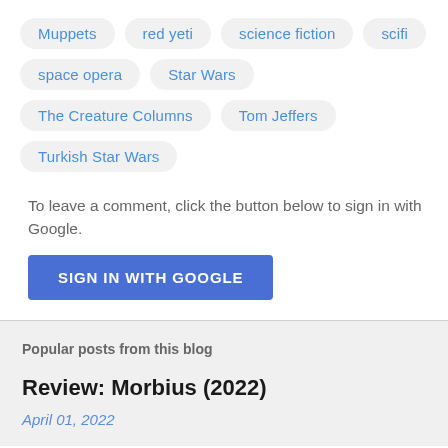Muppets
red yeti
science fiction
scifi
space opera
Star Wars
The Creature Columns
Tom Jeffers
Turkish Star Wars
To leave a comment, click the button below to sign in with Google.
SIGN IN WITH GOOGLE
Popular posts from this blog
Review: Morbius (2022)
April 01, 2022